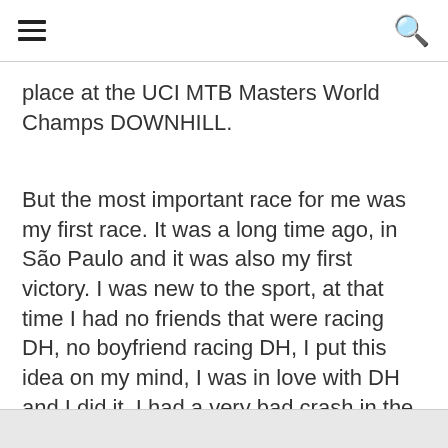☰ [menu icon] [search icon]
place at the UCI MTB Masters World Champs DOWNHILL.
But the most important race for me was my first race. It was a long time ago, in São Paulo and it was also my first victory. I was new to the sport, at that time I had no friends that were racing DH, no boyfriend racing DH, I put this idea on my mind, I was in love with DH and I did it. I had a very bad crash in the last obstacle of the track, I got up and ran the last 10 meters with my bike. I was bleeding, but the taste was so sweet...